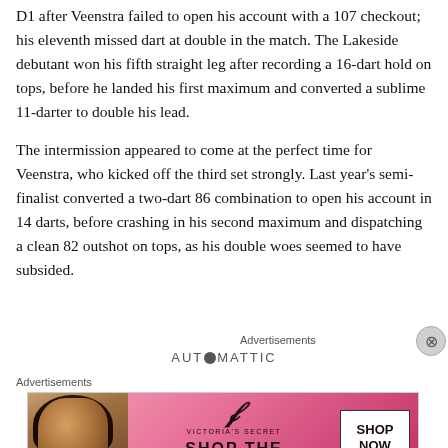D1 after Veenstra failed to open his account with a 107 checkout; his eleventh missed dart at double in the match. The Lakeside debutant won his fifth straight leg after recording a 16-dart hold on tops, before he landed his first maximum and converted a sublime 11-darter to double his lead.
The intermission appeared to come at the perfect time for Veenstra, who kicked off the third set strongly. Last year's semi-finalist converted a two-dart 86 combination to open his account in 14 darts, before crashing in his second maximum and dispatching a clean 82 outshot on tops, as his double woes seemed to have subsided.
Advertisements
[Figure (logo): Automattic logo with circular bullet replacing the 'O']
Advertisements
[Figure (photo): Victoria's Secret advertisement banner with model, VS logo, 'SHOP THE COLLECTION' text, and 'SHOP NOW' button]